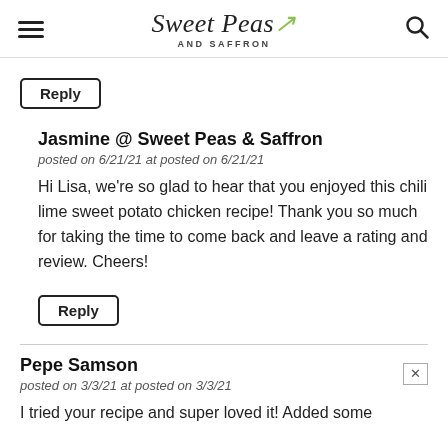Sweet Peas and Saffron
Reply
Jasmine @ Sweet Peas & Saffron
posted on 6/21/21 at posted on 6/21/21
Hi Lisa, we're so glad to hear that you enjoyed this chili lime sweet potato chicken recipe! Thank you so much for taking the time to come back and leave a rating and review. Cheers!
Reply
Pepe Samson
posted on 3/3/21 at posted on 3/3/21
I tried your recipe and super loved it! Added some